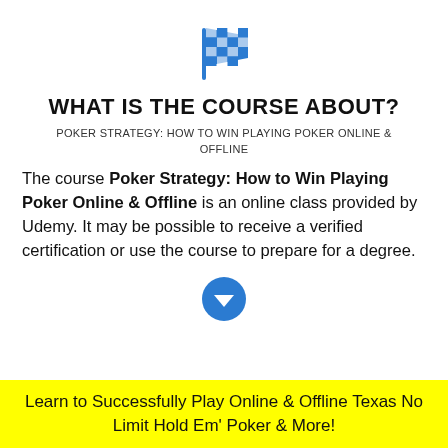[Figure (illustration): Blue checkered racing flag icon]
WHAT IS THE COURSE ABOUT?
POKER STRATEGY: HOW TO WIN PLAYING POKER ONLINE & OFFLINE
The course Poker Strategy: How to Win Playing Poker Online & Offline is an online class provided by Udemy. It may be possible to receive a verified certification or use the course to prepare for a degree.
[Figure (illustration): Blue circular down-arrow icon]
Learn to Successfully Play Online & Offline Texas No Limit Hold Em' Poker & More!